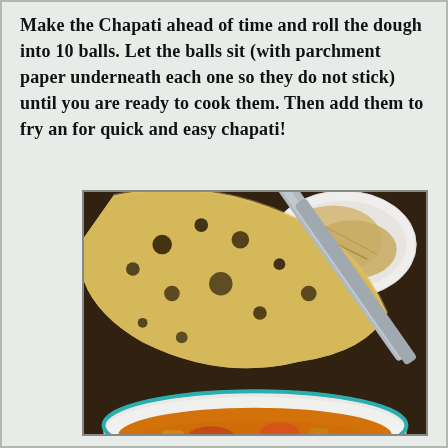Make the Chapati ahead of time and roll the dough into 10 balls. Let the balls sit (with parchment paper underneath each one so they do not stick) until you are ready to cook them. Then add them to fry an for quick and easy chapati!
[Figure (photo): Close-up photograph of chapati flatbread being held over a bowl of curry stew with vegetables and chickpeas. A plate of more chapati flatbreads is visible in the background on a dark wooden surface.]